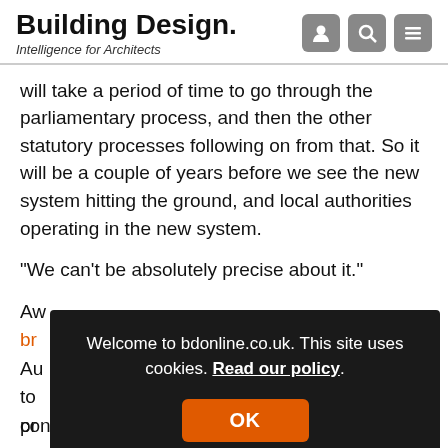Building Design. Intelligence for Architects
will take a period of time to go through the parliamentary process, and then the other statutory processes following on from that. So it will be a couple of years before we see the new system hitting the ground, and local authorities operating in the new system.
“We can’t be absolutely precise about it.”
Aw... br... Au... to... pr... conferred on growth land.
Welcome to bdonline.co.uk. This site uses cookies. Read our policy. OK